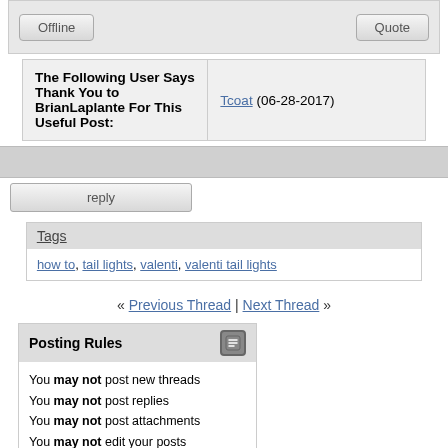| Offline | Quote |
| The Following User Says Thank You to BrianLaplante For This Useful Post: | Tcoat (06-28-2017) |
reply
Tags
how to, tail lights, valenti, valenti tail lights
« Previous Thread | Next Thread »
Posting Rules
You may not post new threads
You may not post replies
You may not post attachments
You may not edit your posts
BB code is On
Smilies are On
[IMG] code is On
HTML code is Off